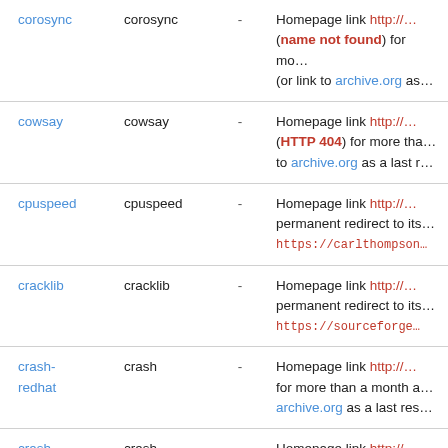| Package link | Name | - | Description |
| --- | --- | --- | --- |
| corosync | corosync | - | Homepage link http://… (name not found) for mo… (or link to archive.org as… |
| cowsay | cowsay | - | Homepage link http://… (HTTP 404) for more tha… to archive.org as a last r… |
| cpuspeed | cpuspeed | - | Homepage link http://… permanent redirect to its… https://carlthompson… |
| cracklib | cracklib | - | Homepage link http://… permanent redirect to its… https://sourceforge… |
| crash-redhat | crash | - | Homepage link http://… for more than a month a… archive.org as a last res… |
| crash-redhat | crash | - | Homepage link http://… for more than a month a… |